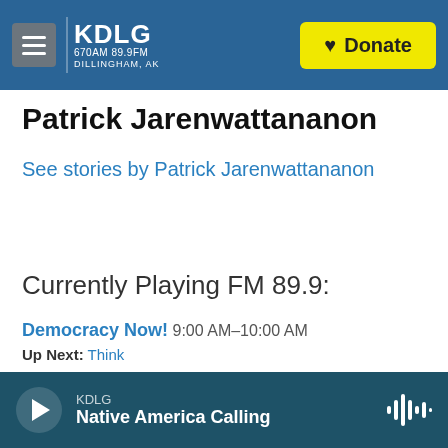KDLG 670AM 89.9FM Dillingham, AK — Donate
Patrick Jarenwattananon
See stories by Patrick Jarenwattananon
Currently Playing FM 89.9:
Democracy Now! 9:00 AM–10:00 AM
Up Next: Think
KDLG — Native America Calling